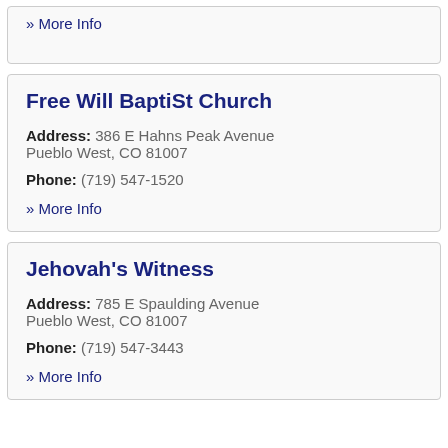» More Info
Free Will BaptiSt Church
Address: 386 E Hahns Peak Avenue Pueblo West, CO 81007
Phone: (719) 547-1520
» More Info
Jehovah's Witness
Address: 785 E Spaulding Avenue Pueblo West, CO 81007
Phone: (719) 547-3443
» More Info